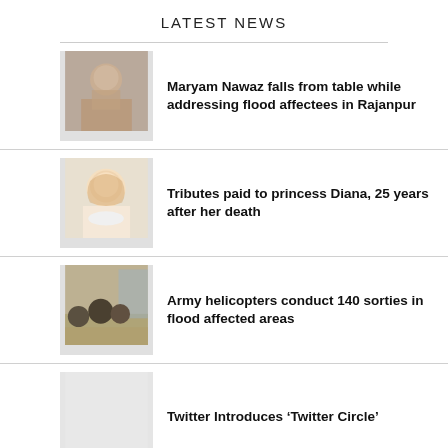LATEST NEWS
Maryam Nawaz falls from table while addressing flood affectees in Rajanpur
Tributes paid to princess Diana, 25 years after her death
Army helicopters conduct 140 sorties in flood affected areas
Twitter Introduces ‘Twitter Circle’
Gold worth Rs25 million stolen from karachi bank